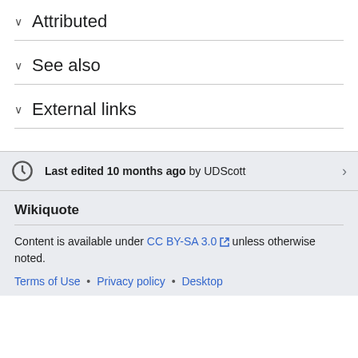Attributed
See also
External links
Last edited 10 months ago by UDScott
Wikiquote
Content is available under CC BY-SA 3.0 unless otherwise noted.
Terms of Use • Privacy policy • Desktop